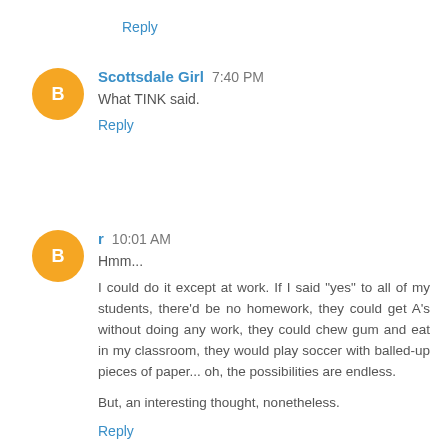Reply
Scottsdale Girl  7:40 PM
What TINK said.
Reply
r  10:01 AM
Hmm...

I could do it except at work. If I said "yes" to all of my students, there'd be no homework, they could get A's without doing any work, they could chew gum and eat in my classroom, they would play soccer with balled-up pieces of paper... oh, the possibilities are endless.

But, an interesting thought, nonetheless.
Reply